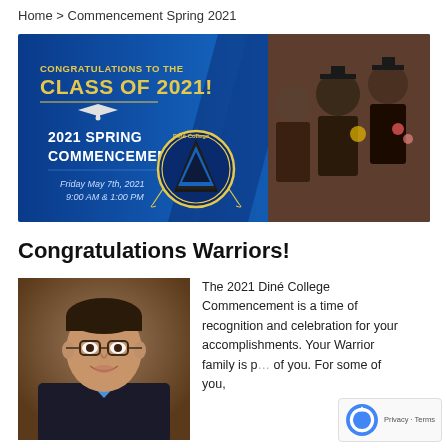Home > Commencement Spring 2021
[Figure (illustration): Banner for 2021 Spring Commencement at Diné College. Blue background with text: CONGRATULATIONS TO THE CLASS OF 2021!, 2021 SPRING COMMENCEMENT, Friday May 7th, 2021 9:00 AM & 1:00 PM. Diné College logo in center. Photo of graduates in gowns on right side.]
Congratulations Warriors!
[Figure (photo): Headshot photo of a man with dark hair, glasses, wearing a suit, smiling.]
The 2021 Diné College Commencement is a time of recognition and celebration for your accomplishments. Your Warrior family is proud of you. For some of you,